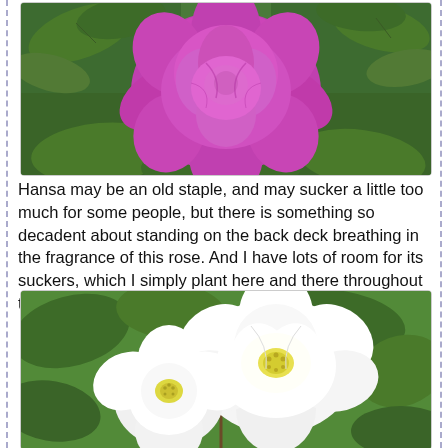[Figure (photo): Close-up photograph of a large, fully bloomed magenta/pink rose flower surrounded by green foliage and leaves]
Hansa may be an old staple, and may sucker a little too much for some people, but there is something so decadent about standing on the back deck breathing in the fragrance of this rose. And I have lots of room for its suckers, which I simply plant here and there throughout the garden.
[Figure (photo): Photograph of white rose flowers with yellow centers blooming among green leaves and thorny stems]